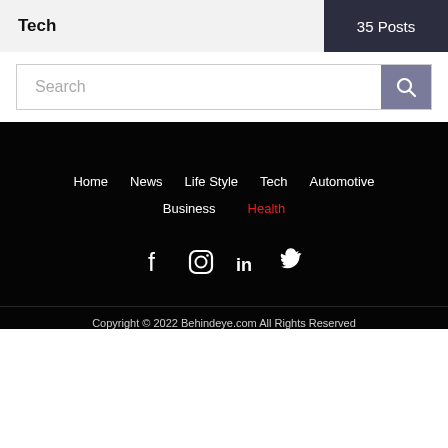Tech   35 Posts
Search
Home
News
Life Style
Tech
Automotive
Business
Health
[Figure (infographic): Social media icons: Facebook, Instagram, LinkedIn, Twitter]
Copyright © 2022 Behindeye.com All Rights Reserved